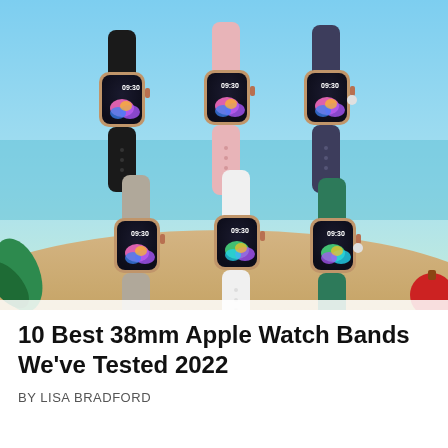[Figure (photo): Six Apple Watch smartwatches displayed in two rows of three, each showing 09:30 on screen with a colorful abstract display face. Top row has black, pink, and dark navy/blue silicone bands. Bottom row has gray, white, and dark green silicone bands. Background shows a blurred beach scene with turquoise water and sand, with decorative holiday elements (green leaves, red ornament) in the lower corners.]
10 Best 38mm Apple Watch Bands We've Tested 2022
BY LISA BRADFORD